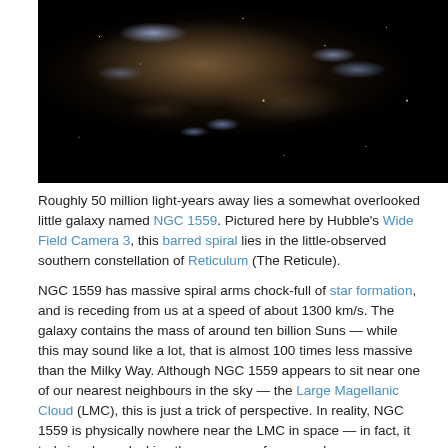[Figure (photo): Hubble Space Telescope image of galaxy NGC 1559, a barred spiral galaxy showing bright star clusters, spiral arms with blue star-forming regions, and a golden foreground star, set against a dark background.]
Roughly 50 million light-years away lies a somewhat overlooked little galaxy named NGC 1559. Pictured here by Hubble's Wide Field Camera 3, this barred spiral lies in the little-observed southern constellation of Reticulum (The Reticule).
NGC 1559 has massive spiral arms chock-full of star formation, and is receding from us at a speed of about 1300 km/s. The galaxy contains the mass of around ten billion Suns — while this may sound like a lot, that is almost 100 times less massive than the Milky Way. Although NGC 1559 appears to sit near one of our nearest neighbours in the sky — the Large Magellanic Cloud (LMC), this is just a trick of perspective. In reality, NGC 1559 is physically nowhere near the LMC in space — in fact, it truly is a loner, lacking the company of any nearby